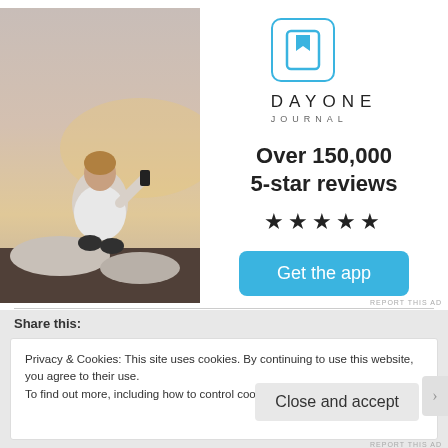[Figure (photo): Person sitting on rocks photographing sunset with mobile phone, seen from behind, wearing white t-shirt]
[Figure (logo): Day One Journal app logo - blue bookmark icon in rounded square, with DAYONE JOURNAL text below]
Over 150,000
5-star reviews
★★★★★
Get the app
REPORT THIS AD
Share this:
Privacy & Cookies: This site uses cookies. By continuing to use this website, you agree to their use.
To find out more, including how to control cookies, see here: Cookie Policy
Close and accept
REPORT THIS AD